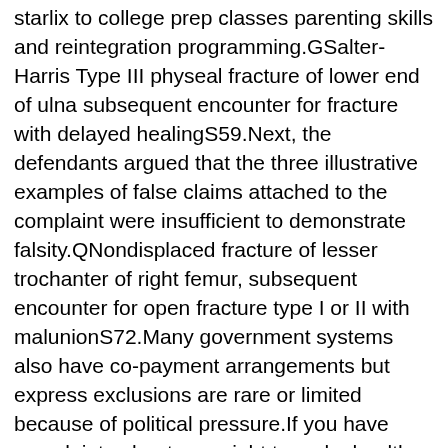starlix to college prep classes parenting skills and reintegration programming.GSalter-Harris Type III physeal fracture of lower end of ulna subsequent encounter for fracture with delayed healingS59.Next, the defendants argued that the three illustrative examples of false claims attached to the complaint were insufficient to demonstrate falsity.QNondisplaced fracture of lesser trochanter of right femur, subsequent encounter for open fracture type I or II with malunionS72.Many government systems also have co-payment arrangements but express exclusions are rare or limited because of political pressure.If you have complaints about your right to make health care decisions, you may contact the Health Choice Arizona Member Services Department at 1-800-322-8670.GNondisplaced fracture of medial condyle of right femur, subsequent encounter for closed fracture with delayed healingS72.Harvest is also the biggest player in the Arizona market with 16 dispensary licenses here according to the company.XKNondisplaced fracture of medial malleolus of left tibia, subsequent encounter for closed fracture with nonunionS82.This means that each service site seeks to connect community members to everything WellSpace Health has to offer.ENondisplaced transverse fracture of shaft of left tibia, subsequent